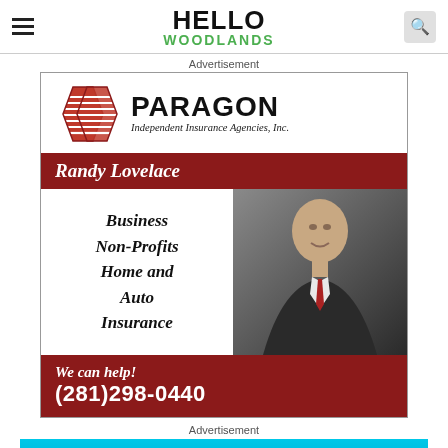HELLO WOODLANDS
Advertisement
[Figure (infographic): Paragon Independent Insurance Agencies advertisement featuring Randy Lovelace. Shows diamond-striped logo, agent name, services (Business, Non-Profits, Home and Auto Insurance), a photo of a smiling man in a suit with red tie, and contact info: We can help! (281)298-0440]
Advertisement
[Figure (other): Partial view of a second advertisement with cyan/turquoise background]